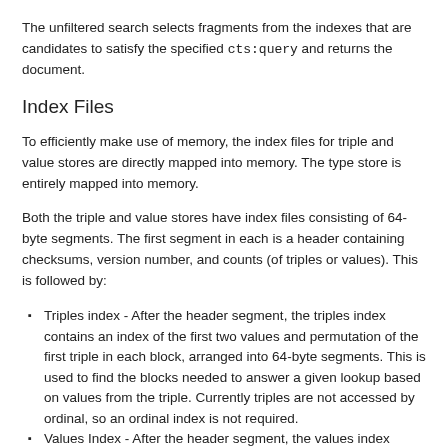The unfiltered search selects fragments from the indexes that are candidates to satisfy the specified cts:query and returns the document.
Index Files
To efficiently make use of memory, the index files for triple and value stores are directly mapped into memory. The type store is entirely mapped into memory.
Both the triple and value stores have index files consisting of 64-byte segments. The first segment in each is a header containing checksums, version number, and counts (of triples or values). This is followed by:
Triples index - After the header segment, the triples index contains an index of the first two values and permutation of the first triple in each block, arranged into 64-byte segments. This is used to find the blocks needed to answer a given lookup based on values from the triple. Currently triples are not accessed by ordinal, so an ordinal index is not required.
Values Index - After the header segment, the values index contains an index of the first value in each block, arranged into 64-byte segments. The values index is used to find the blocks